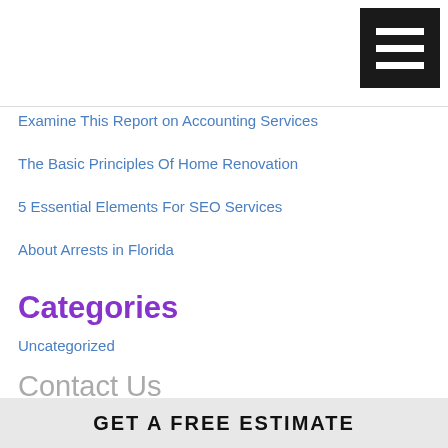[Figure (other): Hamburger menu icon — black square with three white horizontal bars]
Examine This Report on Accounting Services
The Basic Principles Of Home Renovation
5 Essential Elements For SEO Services
About Arrests in Florida
Categories
Uncategorized
Contact Us
Hypnosis
2741 Jones Street, Fort Worth, TX , 76147
Call Us: 817-494-7946
[Figure (photo): GET A FREE ESTIMATE banner at the bottom of the page with a background image]